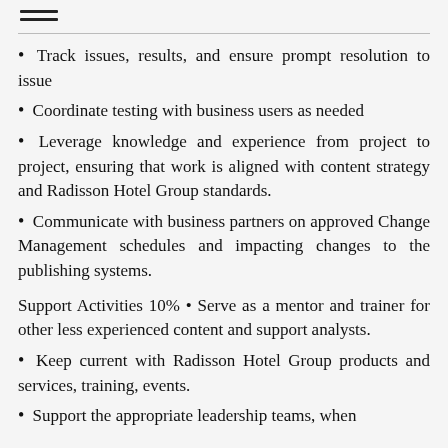Track issues, results, and ensure prompt resolution to issue
Coordinate testing with business users as needed
Leverage knowledge and experience from project to project, ensuring that work is aligned with content strategy and Radisson Hotel Group standards.
Communicate with business partners on approved Change Management schedules and impacting changes to the publishing systems.
Support Activities 10% • Serve as a mentor and trainer for other less experienced content and support analysts.
Keep current with Radisson Hotel Group products and services, training, events.
Support the appropriate leadership teams, when